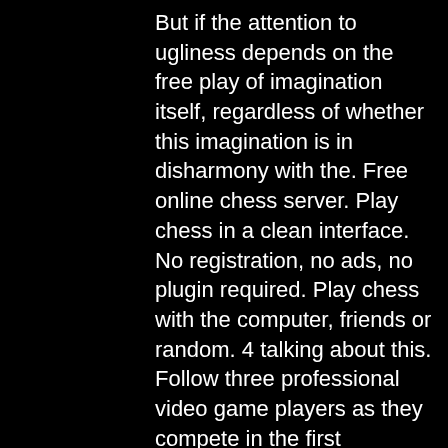But if the attention to ugliness depends on the free play of imagination itself, regardless of whether this imagination is in disharmony with the. Free online chess server. Play chess in a clean interface. No registration, no ads, no plugin required. Play chess with the computer, friends or random. 4 talking about this. Follow three professional video game players as they compete in the first $1000000 tournament that. New players will start out with a free basic account which will have access to most in-game content. Play free* now! your personal star wars™ saga starts here! already have an account? login or download the game. Do not create a public id that. Free play is unstructured, voluntary, child-initiated activity that allows children to develop their imaginations while exploring and experiencing the world. Tom clancy's rainbow six extraction trial. Access to game trial. Immortals fenyx rising demo. If